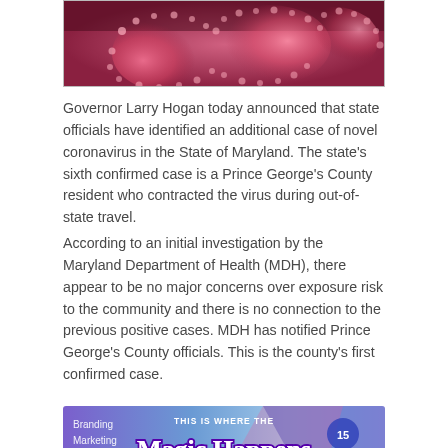[Figure (photo): Close-up photo of coronavirus particles, pink and red colored, microscopy image]
Governor Larry Hogan today announced that state officials have identified an additional case of novel coronavirus in the State of Maryland. The state's sixth confirmed case is a Prince George's County resident who contracted the virus during out-of-state travel.
According to an initial investigation by the Maryland Department of Health (MDH), there appear to be no major concerns over exposure risk to the community and there is no connection to the previous positive cases. MDH has notified Prince George's County officials. This is the county's first confirmed case.
[Figure (advertisement): Advertisement banner for Liquified Creative: 'THIS IS WHERE THE Magic Happens' with text Branding, Marketing, Public Relations on a purple/blue gradient background]
“With the confirmation of a sixth case of novel coronavirus in our state, I want to again assure Marylanders that all levels of government are working together to respond to the COVID-19 threat in a